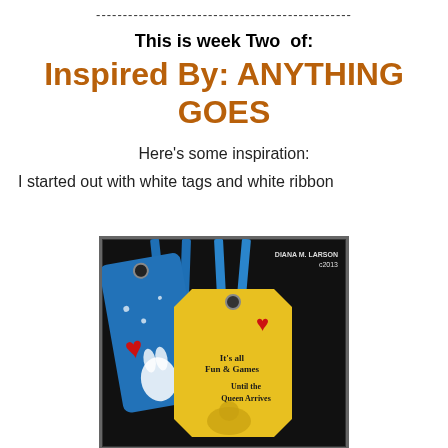------------------------------------------------
This is week Two  of:
Inspired By: ANYTHING GOES
Here's some inspiration:
I started out with white tags and white ribbon
[Figure (photo): Decorated craft tags in blue and yellow with blue ribbon and heart embellishments. Yellow tag reads 'It's all Fun & Games Until the Queen Arrives'. Watermark: Diana M. Larson c2013.]